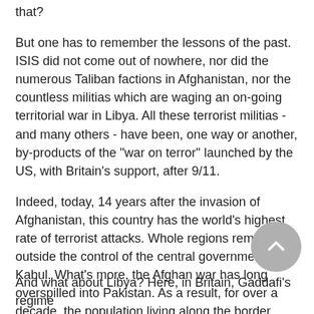that?
But one has to remember the lessons of the past. ISIS did not come out of nowhere, nor did the numerous Taliban factions in Afghanistan, nor the countless militias which are waging an on-going territorial war in Libya. All these terrorist militias - and many others - have been, one way or another, by-products of the "war on terror" launched by the US, with Britain's support, after 9/11.
Indeed, today, 14 years after the invasion of Afghanistan, this country has the world's highest rate of terrorist attacks. Whole regions remain outside the control of the central government, in Kabul. What's more, the Afghan war has long overspilled into Pakistan. As a result, for over a decade, the population living along the border between the two countries has been caught in the cross-fire between Islamic militias which are trying to impose their rule on them and the Pakistani army, backed up by US drones, which are trying to stop them.
And what about Libya? Here, in Britain, Gaddafi's regime